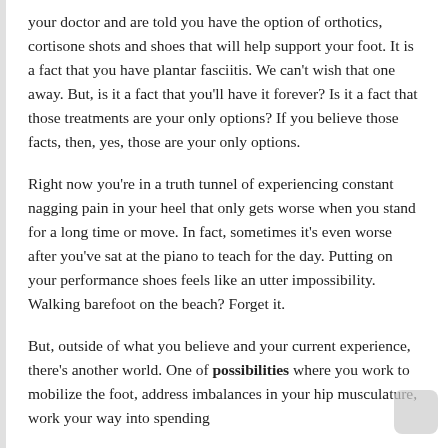your doctor and are told you have the option of orthotics, cortisone shots and shoes that will help support your foot. It is a fact that you have plantar fasciitis. We can't wish that one away. But, is it a fact that you'll have it forever? Is it a fact that those treatments are your only options? If you believe those facts, then, yes, those are your only options.
Right now you're in a truth tunnel of experiencing constant nagging pain in your heel that only gets worse when you stand for a long time or move. In fact, sometimes it's even worse after you've sat at the piano to teach for the day. Putting on your performance shoes feels like an utter impossibility. Walking barefoot on the beach? Forget it.
But, outside of what you believe and your current experience, there's another world. One of possibilities where you work to mobilize the foot, address imbalances in your hip musculature, work your way into spending